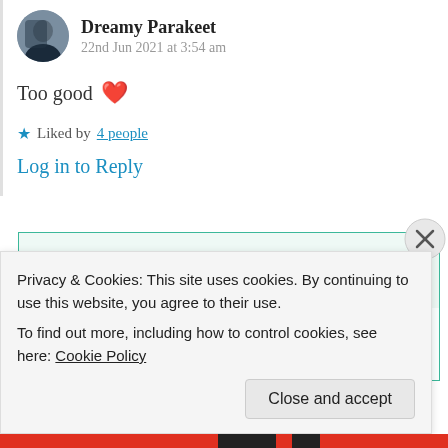Dreamy Parakeet
22nd Jun 2021 at 3:54 am
Too good ❤
★ Liked by 4 people
Log in to Reply
Suma Reddy
22nd Jun 2021 at 3:59 am
Privacy & Cookies: This site uses cookies. By continuing to use this website, you agree to their use. To find out more, including how to control cookies, see here: Cookie Policy
Close and accept